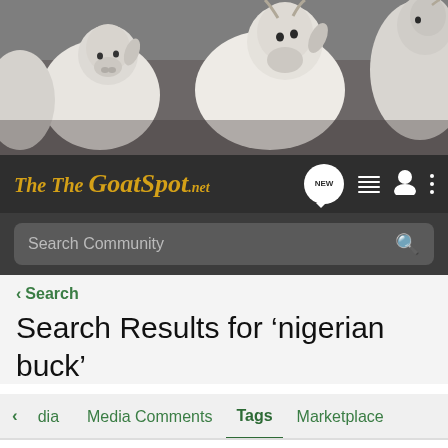[Figure (photo): Close-up photo of several white goats looking at the camera]
The GoatSpot.net — navigation bar with NEW chat bubble, list icon, user icon, and menu icon
Search Community
< Search
Search Results for ‘nigerian buck’
< dia   Media Comments   Tags   Marketplace
Search Tags
× nigerian buck   Search